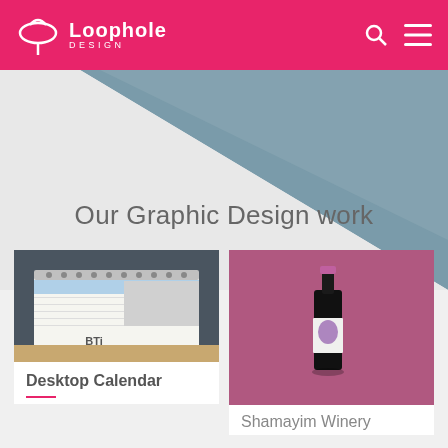Loophole Design
[Figure (illustration): Diagonal hero banner with teal/slate blue upper-right triangle and light grey lower-left triangle on grey background]
Our Graphic Design work
[Figure (photo): BTi desktop calendar with spiral binding, showing calendar pages and industrial images, placed on a wooden surface]
Desktop Calendar
[Figure (photo): Wine bottle with white label featuring purple ink splash design, tilted at an angle against a pink/mauve background — Shamayim Winery]
Shamayim Winery